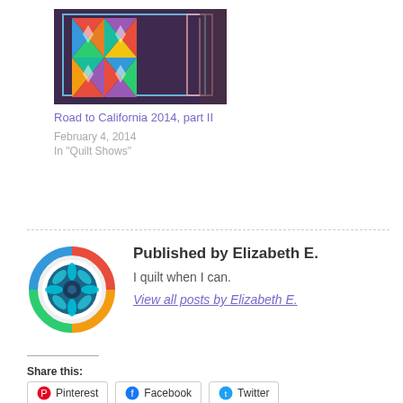[Figure (photo): Colorful geometric quilt with rainbow pinwheel patterns on dark background, displayed at a quilt show]
Road to California 2014, part II
February 4, 2014
In "Quilt Shows"
[Figure (photo): Circular avatar logo showing a colorful mandala/star quilt pattern in rainbow colors with dark blue center]
Published by Elizabeth E.
I quilt when I can.
View all posts by Elizabeth E.
Share this:
Pinterest
Facebook
Twitter